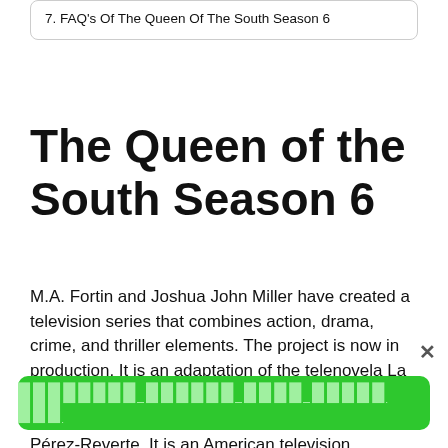7. FAQ's Of The Queen Of The South Season 6
The Queen of the South Season 6
M.A. Fortin and Joshua John Miller have created a television series that combines action, drama, crime, and thriller elements. The project is now in production. It is an adaptation of the telenovela La Reina del Sur, which is an adaptation of the book of the same name by Spanish author Arturo Pérez-Reverte. It is an American television
×
[green button with Hindi/Devanagari text]